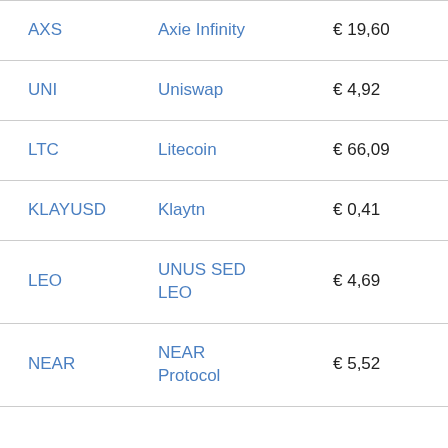| Ticker | Name | Price | Change |
| --- | --- | --- | --- |
| AXS | Axie Infinity | € 19,60 | -2… |
| UNI | Uniswap | € 4,92 | -1… |
| LTC | Litecoin | € 66,09 | 0… |
| KLAYUSD | Klaytn | € 0,41 | -1… |
| LEO | UNUS SED LEO | € 4,69 | -1… |
| NEAR | NEAR Protocol | € 5,52 | -2… |